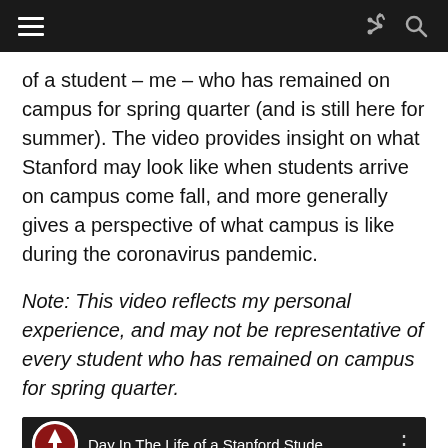Navigation bar with hamburger menu, share icon, and search icon
of a student – me – who has remained on campus for spring quarter (and is still here for summer). The video provides insight on what Stanford may look like when students arrive on campus come fall, and more generally gives a perspective of what campus is like during the coronavirus pandemic.
Note: This video reflects my personal experience, and may not be representative of every student who has remained on campus for spring quarter.
[Figure (screenshot): YouTube video embed thumbnail showing 'Day In The Life of a Stanford Stude...' with Stanford logo and partial text 'DAY IN... UNIVERSITY' on a dark background]